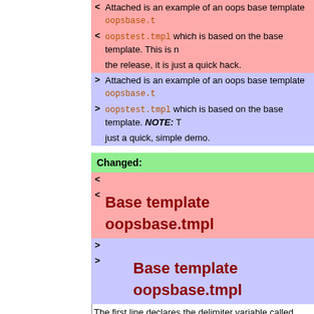< Attached is an example of an oops base template oopsbase.t
< oopstest.tmpl which is based on the base template. This is n the release, it is just a quick hack.
> Attached is an example of an oops base template oopsbase.t
> oopstest.tmpl which is based on the base template. NOTE: just a quick, simple demo.
Changed:
< (empty line)
< Base template oopsbase.tmpl
> (empty line)
> Base template oopsbase.tmpl
The first line declares the delimiter variable called "sep", use The variable can be called anywhere by writing %TMPL:P{"sep
Changed:
< Note: Added a dot to escape rendering of variables, i.e. read